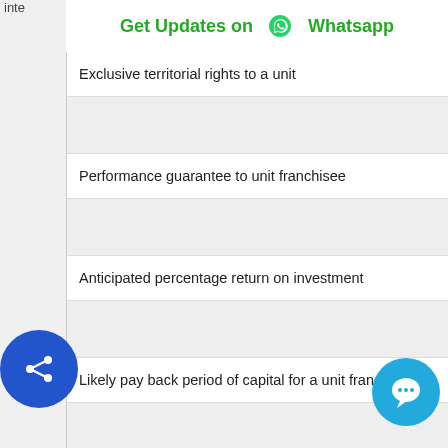inte
Get Updates on Whatsapp
Exclusive territorial rights to a unit
Performance guarantee to unit franchisee
Anticipated percentage return on investment
Likely pay back period of capital for a unit franchise
Other investment requirements